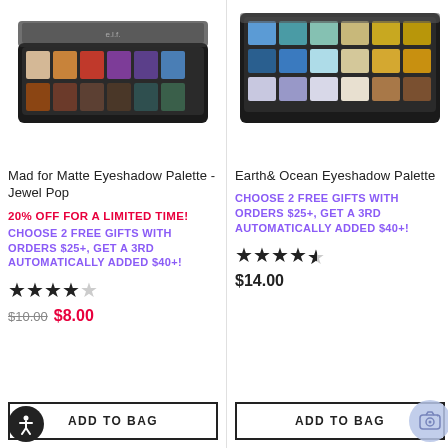[Figure (photo): Mad for Matte Eyeshadow Palette - Jewel Pop product image showing an open eyeshadow palette with multiple colorful matte shades]
Mad for Matte Eyeshadow Palette - Jewel Pop
20% OFF FOR A LIMITED TIME!
CHOOSE 2 FREE GIFTS WITH ORDERS $25+, GET A 3RD AUTOMATICALLY ADDED $40+!
★★★★☆ (4 out of 5 stars)
$10.00 $8.00
ADD TO BAG
[Figure (photo): Earth & Ocean Eyeshadow Palette product image showing an open eyeshadow palette with blue, green, gold, and brown shades]
Earth& Ocean Eyeshadow Palette
CHOOSE 2 FREE GIFTS WITH ORDERS $25+, GET A 3RD AUTOMATICALLY ADDED $40+!
★★★★½ (4.5 out of 5 stars)
$14.00
ADD TO BAG